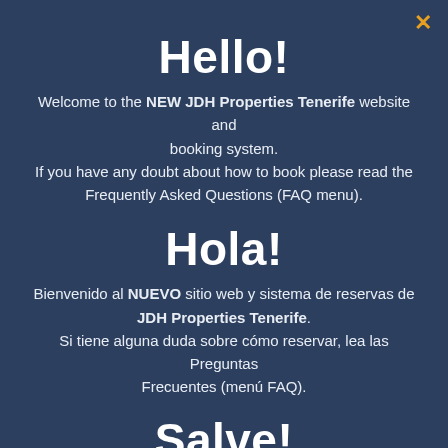Hello!
Welcome to the NEW JDH Properties Tenerife website and booking system. If you have any doubt about how to book please read the Frequently Asked Questions (FAQ menu).
Hola!
Bienvenido al NUEVO sitio web y sistema de reservas de JDH Properties Tenerife. Si tiene alguna duda sobre cómo reservar, lea las Preguntas Frecuentes (menú FAQ).
Salve!